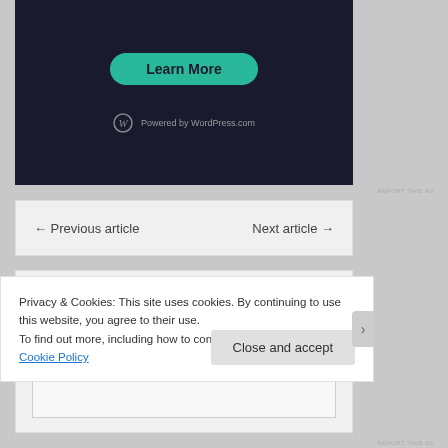[Figure (screenshot): WordPress.com advertisement banner with 'Learn More' button and 'Powered by WordPress.com' logo on dark background]
REPORT THIS AD
← Previous article    Next article →
Leave a Reply
Enter your comment here...
Privacy & Cookies: This site uses cookies. By continuing to use this website, you agree to their use.
To find out more, including how to control cookies, see here: Cookie Policy
Close and accept
REPORT THIS AD